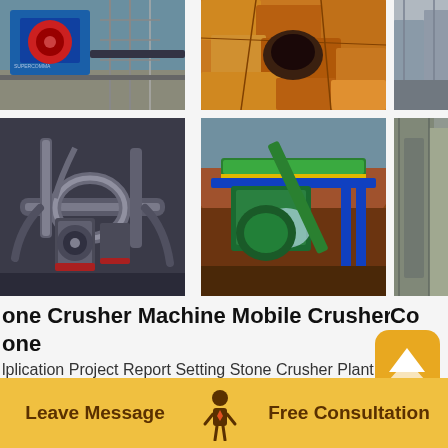[Figure (photo): Industrial stone crusher machine with blue equipment and scaffolding]
[Figure (photo): Close-up of crushed yellow/orange stone aggregate material]
[Figure (photo): Partial view of industrial equipment (partially cropped on right)]
[Figure (photo): Industrial pipeline and pump station machinery, black metal pipes]
[Figure (photo): Green and blue mobile crusher plant processing material with water spray]
[Figure (photo): Partial view of industrial plant (partially cropped on right)]
one Crusher Machine Mobile Crusher Plant
one
lplication Project Report Setting Stone Crusher Plant In
Co
Mi
cru
Leave Message
Free Consultation